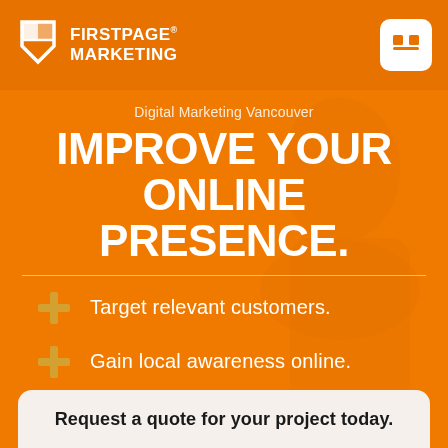FIRSTPAGE MARKETING
Digital Marketing Vancouver
IMPROVE YOUR ONLINE PRESENCE.
Target relevant customers.
Gain local awareness online.
Increase conversion rates.
Request a quote for your project today.